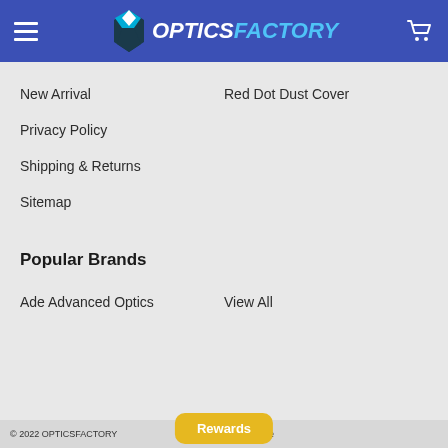OPTICSFACTORY
New Arrival
Red Dot Dust Cover
Privacy Policy
Shipping & Returns
Sitemap
Popular Brands
Ade Advanced Optics
View All
© 2022 OPTICSFACTORY. Powered by BigCommerce. Theme